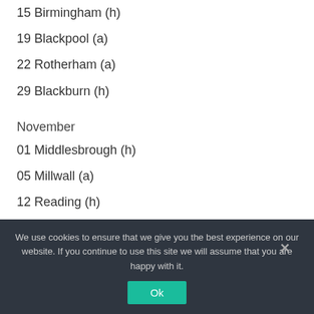15 Birmingham (h)
19 Blackpool (a)
22 Rotherham (a)
29 Blackburn (h)
November
01 Middlesbrough (h)
05 Millwall (a)
12 Reading (h)
December
10 Watford (a)
We use cookies to ensure that we give you the best experience on our website. If you continue to use this site we will assume that you are happy with it.